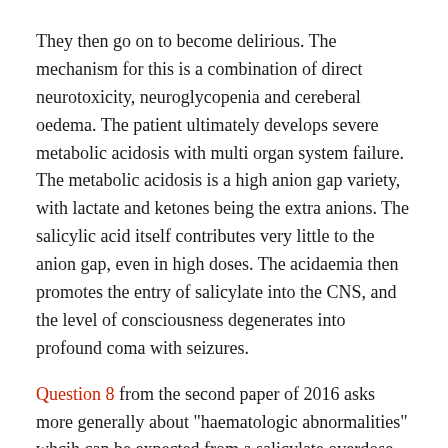They then go on to become delirious. The mechanism for this is a combination of direct neurotoxicity, neuroglycopenia and cereberal oedema. The patient ultimately develops severe metabolic acidosis with multi organ system failure. The metabolic acidosis is a high anion gap variety, with lactate and ketones being the extra anions. The salicylic acid itself contributes very little to the anion gap, even in high doses. The acidaemia then promotes the entry of salicylate into the CNS, and the level of consciousness degenerates into profound coma with seizures.
Question 8 from the second paper of 2016 asks more generally about "haematologic abnormalities" whcih can be expected from a salicylate overdose. These were reviewed in an ancient article by Rothschild (1979)
Raised PT: The classical coagulopathy